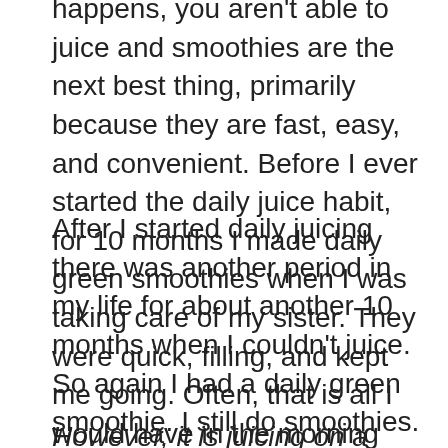happens, you aren't able to juice and smoothies are the next best thing, primarily because they are fast, easy, and convenient. Before I ever started the daily juice habit, for 10 months I made daily green smoothies when I was taking care of my sister. They were quick, filling, and kept me going. Often, that is all I would have in the morning until dinner because I was very busy.
After I started daily juicing there was another period in my life for about another 10 months when I couldn't juice. So again I had a daily green smoothie. I still do smoothies. They have a definite and beneficial place in adding living food to your diet. Twenty months of green smoothies and no juice…good health and benefits for sure…
However, it is juicing on a daily basis that causes the